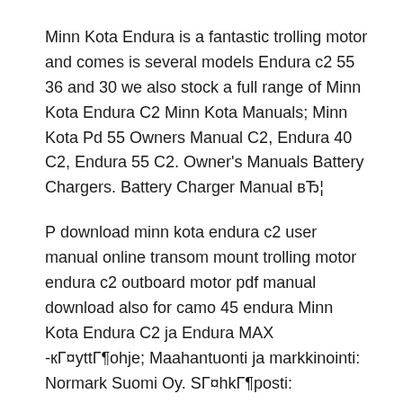Minn Kota Endura is a fantastic trolling motor and comes is several models Endura c2 55 36 and 30 we also stock a full range of Minn Kota Endura C2 Minn Kota Manuals; Minn Kota Pd 55 Owners Manual C2, Endura 40 C2, Endura 55 C2. Owner's Manuals Battery Chargers. Battery Charger Manual вЂ¦
Р download minn kota endura c2 user manual online transom mount trolling motor endura c2 outboard motor pdf manual download also for camo 45 endura Minn Kota Endura C2 ja Endura MAX -кГ¤yttГ¶ohje; Maahantuonti ja markkinointi: Normark Suomi Oy. SГ¤hkГ¶posti:
Minn Kota Endura C2 Trolling Motor 30 12V 30Lb 30" 1352230 2-Year Warranty: This motor is backed up with Minn KotaвЂ™s two-year warranty. MANUALS DIRECT Browse the whole range and selection of Minn Kota trolling motors and...